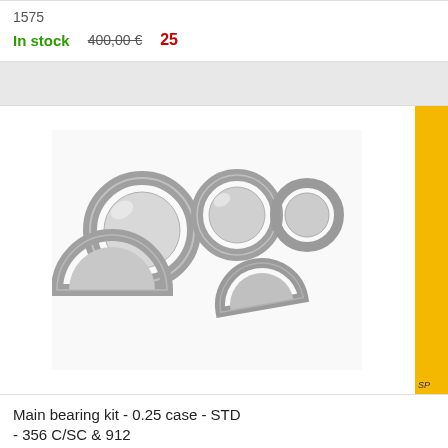In stock
400,00 € 25...
[Figure (photo): Main bearing kit parts - metallic bearing shells and half-rings]
SP...
Main bearing kit - 0.25 case - STD - 356 C/SC & 912
In stock
460,00 € 27...
[Figure (photo): Muffler - racing - black cylindrical muffler with 2 outlets, adjusted to carrera apron]
D...
SP...
Muffler - racing - 2 outlet - adjusted to carrera apron
In stock
570,00 € 44...